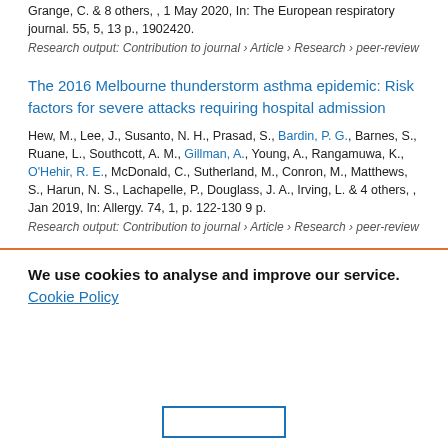Grange, C. & 8 others, , 1 May 2020, In: The European respiratory journal. 55, 5, 13 p., 1902420.
Research output: Contribution to journal › Article › Research › peer-review
The 2016 Melbourne thunderstorm asthma epidemic: Risk factors for severe attacks requiring hospital admission
Hew, M., Lee, J., Susanto, N. H., Prasad, S., Bardin, P. G., Barnes, S., Ruane, L., Southcott, A. M., Gillman, A., Young, A., Rangamuwa, K., O'Hehir, R. E., McDonald, C., Sutherland, M., Conron, M., Matthews, S., Harun, N. S., Lachapelle, P., Douglass, J. A., Irving, L. & 4 others, , Jan 2019, In: Allergy. 74, 1, p. 122-130 9 p.
Research output: Contribution to journal › Article › Research › peer-review
We use cookies to analyse and improve our service. Cookie Policy